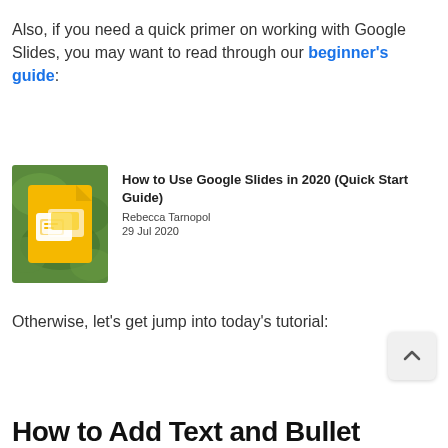Also, if you need a quick primer on working with Google Slides, you may want to read through our beginner's guide:
[Figure (illustration): Google Slides app icon: orange/yellow document icon with presentation slide graphics on a green blurred background]
How to Use Google Slides in 2020 (Quick Start Guide)
Rebecca Tarnopol
29 Jul 2020
Otherwise, let's get jump into today's tutorial:
How to Add Text and Bullet